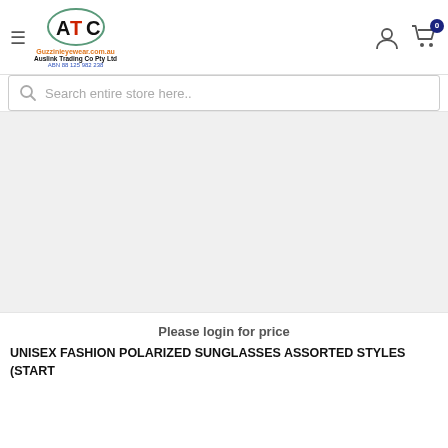[Figure (logo): ATC logo with oval border, red and black letters, orange website text Guzzinieyewear.com.au, company name Auslink Trading Co Pty Ltd, ABN 88 125 982 238]
[Figure (other): Empty light grey product image placeholder area]
Please login for price
UNISEX FASHION POLARIZED SUNGLASSES ASSORTED STYLES (START